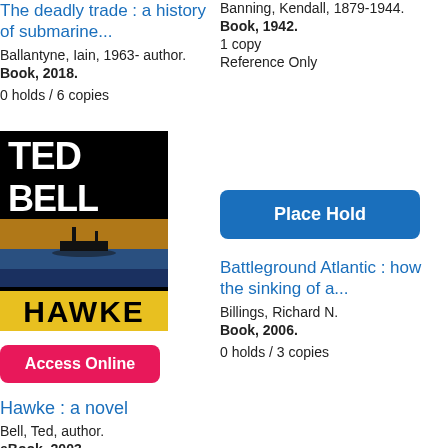The deadly trade : a history of submarine...
Ballantyne, Iain, 1963- author.
Book, 2018.
0 holds / 6 copies
Banning, Kendall, 1879-1944.
Book, 1942.
1 copy
Reference Only
[Figure (other): Book cover for Hawke by Ted Bell, showing author name and title]
Access Online
Place Hold
Hawke : a novel
Bell, Ted, author.
eBook, 2003.
Provided through OverDrive
Battleground Atlantic : how the sinking of a...
Billings, Richard N.
Book, 2006.
0 holds / 3 copies